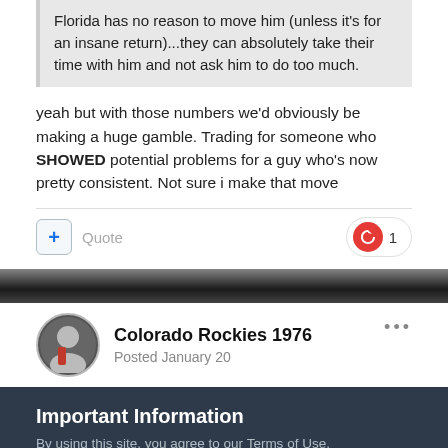Florida has no reason to move him (unless it's for an insane return)...they can absolutely take their time with him and not ask him to do too much.
yeah but with those numbers we'd obviously be making a huge gamble. Trading for someone who SHOWED potential problems for a guy who's now pretty consistent. Not sure i make that move
Quote
1
Colorado Rockies 1976
Posted January 20
Important Information
By using this site, you agree to our Terms of Use.
✓ I accept